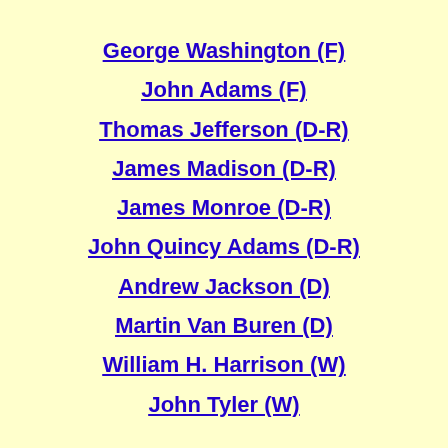George Washington (F)
John Adams (F)
Thomas Jefferson (D-R)
James Madison (D-R)
James Monroe (D-R)
John Quincy Adams (D-R)
Andrew Jackson (D)
Martin Van Buren (D)
William H. Harrison (W)
John Tyler (W)